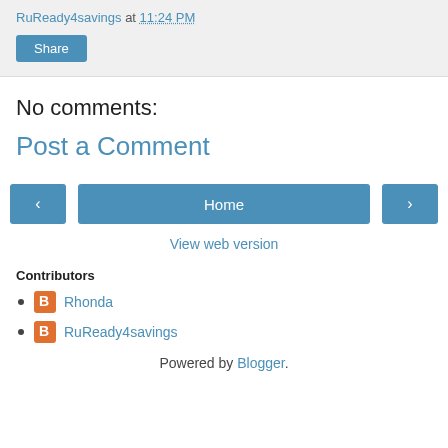RuReady4savings at 11:24 PM
Share
No comments:
Post a Comment
< Home >
View web version
Contributors
Rhonda
RuReady4savings
Powered by Blogger.